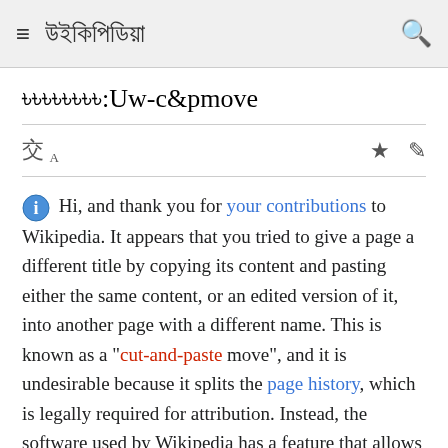উইকিপিডিয়া
টেমপ্লেট:Uw-c&pmove
Hi, and thank you for your contributions to Wikipedia. It appears that you tried to give a page a different title by copying its content and pasting either the same content, or an edited version of it, into another page with a different name. This is known as a "cut-and-paste move", and it is undesirable because it splits the page history, which is legally required for attribution. Instead, the software used by Wikipedia has a feature that allows pages to be moved to a new title together with their edit history.

In most cases, once your account is four days old and has